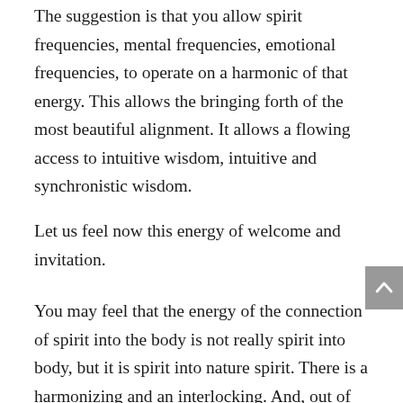The suggestion is that you allow spirit frequencies, mental frequencies, emotional frequencies, to operate on a harmonic of that energy. This allows the bringing forth of the most beautiful alignment. It allows a flowing access to intuitive wisdom, intuitive and synchronistic wisdom.
Let us feel now this energy of welcome and invitation.
You may feel that the energy of the connection of spirit into the body is not really spirit into body, but it is spirit into nature spirit. There is a harmonizing and an interlocking. And, out of that, is generated a physical body which is a reflection of that union. It is not that you connect to the physical body in order to connect to nature, but rather that the body is the result of that connection. Therefore, perhaps, the clarity arises within you, the recognition of the significance of harmonizing spirit to nature spirit for the generation of well-being